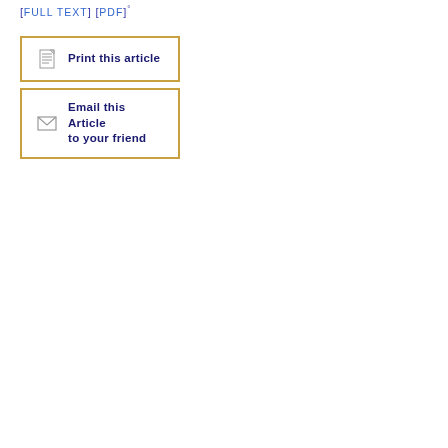[FULL TEXT] [PDF]°
[Figure (other): Print this article button with document icon, gold border]
[Figure (other): Email this Article to your friend button with envelope icon, gold border]